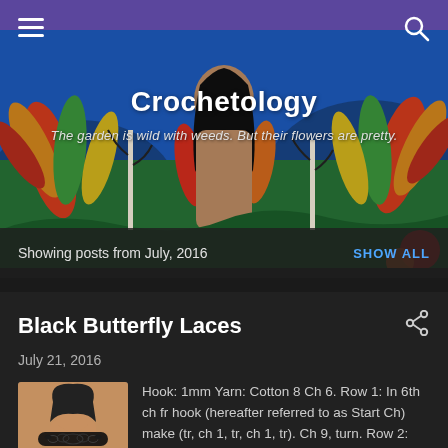[Figure (illustration): Colorful painted background with a figure of a woman with long dark hair, surrounded by tropical leaves in red, yellow, green and orange. Vibrant folk-art style painting.]
Crochetology
The garden is wild with weeds. But their flowers are pretty.
Showing posts from July, 2016  SHOW ALL
Black Butterfly Laces
July 21, 2016
[Figure (photo): Thumbnail photo of a black lace butterfly choker necklace worn around a woman's neck.]
Hook: 1mm Yarn: Cotton 8 Ch 6. Row 1: In 6th ch fr hook (hereafter referred to as Start Ch) make (tr, ch 1, tr, ch 1, tr). Ch 9, turn. Row 2: Dtr in ch-1 sp, ch 2, dtr in tr, ch 2, dtr in next ch-1 sp, ch 2, dtr in next tr, ch 2, dt ...